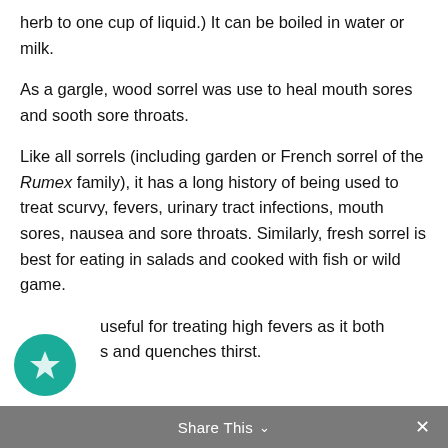herb to one cup of liquid.) It can be boiled in water or milk.
As a gargle, wood sorrel was use to heal mouth sores and sooth sore throats.
Like all sorrels (including garden or French sorrel of the Rumex family), it has a long history of being used to treat scurvy, fevers, urinary tract infections, mouth sores, nausea and sore throats. Similarly, fresh sorrel is best for eating in salads and cooked with fish or wild game.
useful for treating high fevers as it both s and quenches thirst.
Share This ∨  ✕